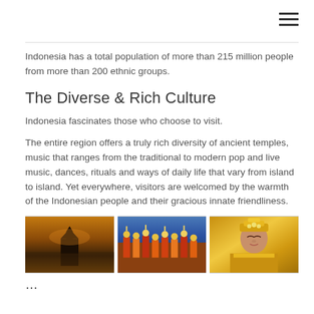Indonesia has a total population of more than 215 million people from more than 200 ethnic groups.
The Diverse & Rich Culture
Indonesia fascinates those who choose to visit.
The entire region offers a truly rich diversity of ancient temples, music that ranges from the traditional to modern pop and live music, dances, rituals and ways of daily life that vary from island to island. Yet everywhere, visitors are welcomed by the warmth of the Indonesian people and their gracious innate friendliness.
[Figure (photo): Three photos side by side: left - Balinese water temple at sunset with golden sky reflection; center - colorful traditional dancers in costume; right - woman in golden traditional Balinese costume praying with hands clasped.]
… (cut off at bottom)